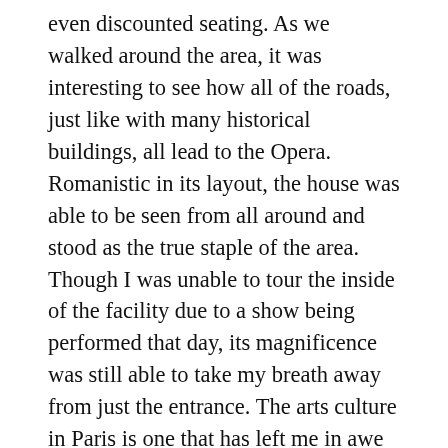even discounted seating. As we walked around the area, it was interesting to see how all of the roads, just like with many historical buildings, all lead to the Opera. Romanistic in its layout, the house was able to be seen from all around and stood as the true staple of the area. Though I was unable to tour the inside of the facility due to a show being performed that day, its magnificence was still able to take my breath away from just the entrance. The arts culture in Paris is one that has left me in awe as it seems to be the heart of the French, something that binds them together and gets people talking no matter what the subject. References to previous great minds such as Chopin and Molière who all lived and